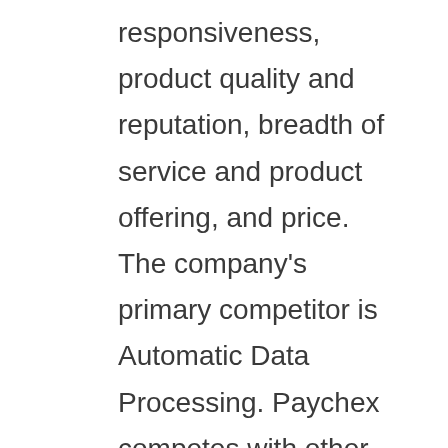responsiveness, product quality and reputation, breadth of service and product offering, and price. The company's primary competitor is Automatic Data Processing. Paychex competes with other national, regional, local, and online service providers. In addition to traditional payroll processing and HR service providers, the company competes with in-house payroll and HR systems and departments. Its HR services also competes with several providers of HR